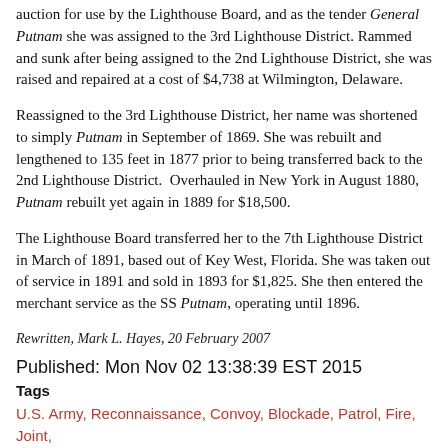auction for use by the Lighthouse Board, and as the tender General Putnam she was assigned to the 3rd Lighthouse District. Rammed and sunk after being assigned to the 2nd Lighthouse District, she was raised and repaired at a cost of $4,738 at Wilmington, Delaware.
Reassigned to the 3rd Lighthouse District, her name was shortened to simply Putnam in September of 1869. She was rebuilt and lengthened to 135 feet in 1877 prior to being transferred back to the 2nd Lighthouse District. Overhauled in New York in August 1880, Putnam rebuilt yet again in 1889 for $18,500.
The Lighthouse Board transferred her to the 7th Lighthouse District in March of 1891, based out of Key West, Florida. She was taken out of service in 1891 and sold in 1893 for $1,825. She then entered the merchant service as the SS Putnam, operating until 1896.
Rewritten, Mark L. Hayes, 20 February 2007
Published: Mon Nov 02 13:38:39 EST 2015
Tags
U.S. Army, Reconnaissance, Convoy, Blockade, Patrol, Fire, Joint, Navigation, Sinking, Casualties